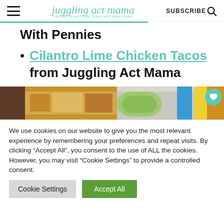juggling act mama — RECIPES, PROJECTS AND TRAVEL WITH ANGELA PARIS — SUBSCRIBE
With Pennies
Cilantro Lime Chicken Tacos from Juggling Act Mama
[Figure (photo): Two food photos side by side: left shows a casserole/baked dish, right shows guacamole or green dip in a white bowl]
We use cookies on our website to give you the most relevant experience by remembering your preferences and repeat visits. By clicking "Accept All", you consent to the use of ALL the cookies. However, you may visit "Cookie Settings" to provide a controlled consent.